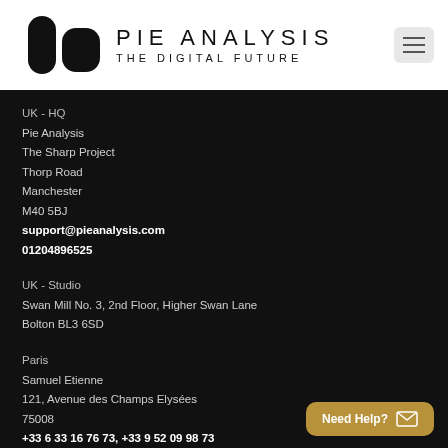[Figure (logo): Pie Analysis logo with two pill-shaped black icons and text 'PIE ANALYSIS / THE DIGITAL FUTURE']
UK - HQ
Pie Analysis
The Sharp Project
Thorp Road
Manchester
M40 5BJ
support@pieanalysis.com
01204896525
UK - Studio
Swan Mill No. 3, 2nd Floor, Higher Swan Lane
Bolton BL3 6SD
Paris
Samuel Etienne
121, Avenue des Champs Elysées
75008
+33 6 33 16 76 73, +33 9 52 09 98 73